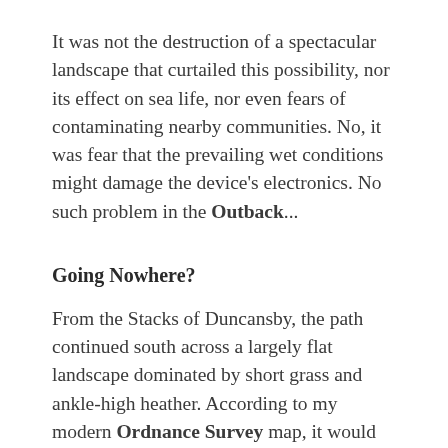It was not the destruction of a spectacular landscape that curtailed this possibility, nor its effect on sea life, nor even fears of contaminating nearby communities. No, it was fear that the prevailing wet conditions might damage the device's electronics. No such problem in the Outback...
Going Nowhere?
From the Stacks of Duncansby, the path continued south across a largely flat landscape dominated by short grass and ankle-high heather. According to my modern Ordnance Survey map, it would continue up the Hill of